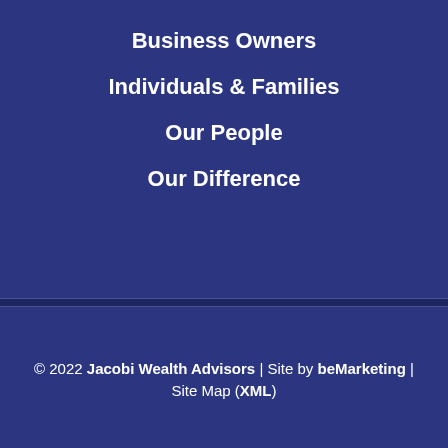Business Owners
Individuals & Families
Our People
Our Difference
© 2022 Jacobi Wealth Advisors | Site by beMarketing | Site Map (XML)